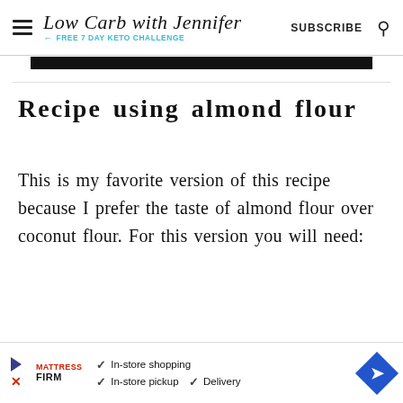Low Carb with Jennifer — FREE 7 DAY KETO CHALLENGE | SUBSCRIBE
[Figure (screenshot): Black bar image strip at top of content area]
Recipe using almond flour
This is my favorite version of this recipe because I prefer the taste of almond flour over coconut flour. For this version you will need:
[Figure (infographic): Mattress Firm advertisement banner: In-store shopping, In-store pickup, Delivery]